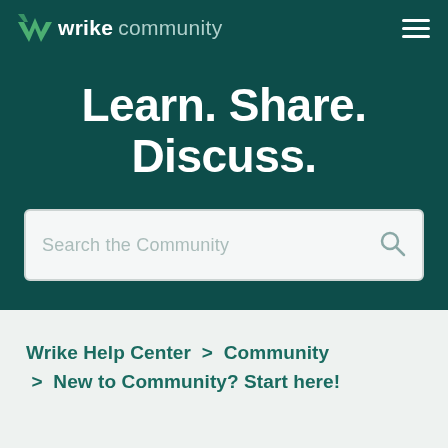wrike community
Learn. Share. Discuss.
Search the Community
Wrike Help Center > Community > New to Community? Start here!